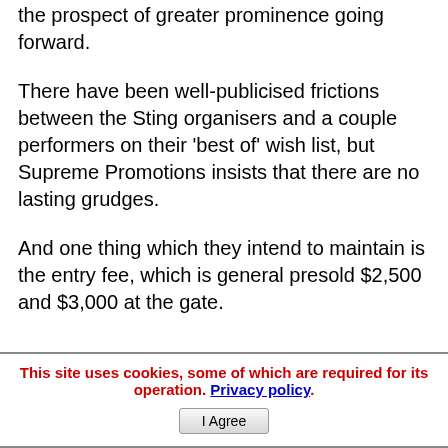the prospect of greater prominence going forward.
There have been well-publicised frictions between the Sting organisers and a couple performers on their 'best of' wish list, but Supreme Promotions insists that there are no lasting grudges.
And one thing which they intend to maintain is the entry fee, which is general presold $2,500 and $3,000 at the gate.
This site uses cookies, some of which are required for its operation. Privacy policy. I Agree